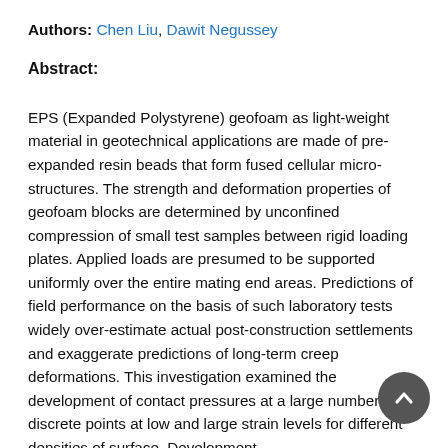Authors: Chen Liu, Dawit Negussey
Abstract:
EPS (Expanded Polystyrene) geofoam as light-weight material in geotechnical applications are made of pre-expanded resin beads that form fused cellular micro-structures. The strength and deformation properties of geofoam blocks are determined by unconfined compression of small test samples between rigid loading plates. Applied loads are presumed to be supported uniformly over the entire mating end areas. Predictions of field performance on the basis of such laboratory tests widely over-estimate actual post-construction settlements and exaggerate predictions of long-term creep deformations. This investigation examined the development of contact pressures at a large number of discrete points at low and large strain levels for different densities of surface. Development...